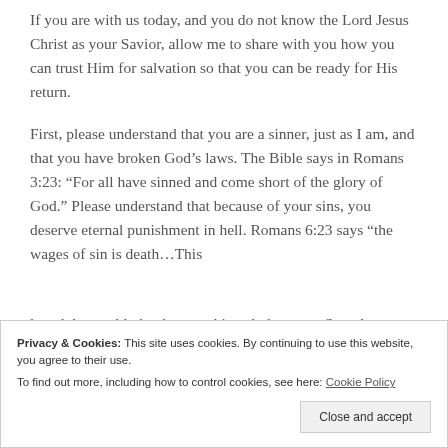If you are with us today, and you do not know the Lord Jesus Christ as your Savior, allow me to share with you how you can trust Him for salvation so that you can be ready for His return.

First, please understand that you are a sinner, just as I am, and that you have broken God’s laws. The Bible says in Romans 3:23: “For all have sinned and come short of the glory of God.” Please understand that because of your sins, you deserve eternal punishment in hell. Romans 6:23 says “the wages of sin is death…This
Privacy & Cookies: This site uses cookies. By continuing to use this website, you agree to their use.
To find out more, including how to control cookies, see here: Cookie Policy
Close and accept
loved the world, that he gave his only begotten Son, that